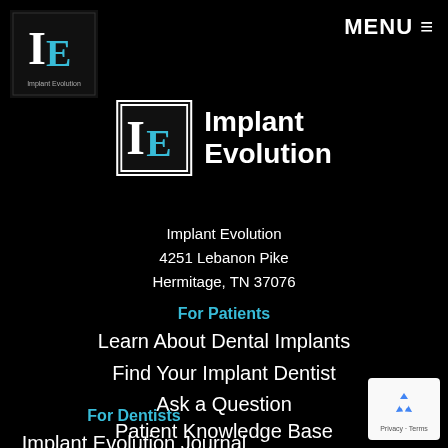[Figure (logo): Implant Evolution small square logo with IE letters in black background with teal E]
MENU ≡
[Figure (logo): Implant Evolution logo with IE box and text 'Implant Evolution' in white on black]
Implant Evolution
4251 Lebanon Pike
Hermitage, TN 37076
For Patients
Learn About Dental Implants
Find Your Implant Dentist
Ask a Question
Patient Knowledge Base
For Dentists
Implant Evolution Journal
[Figure (logo): Google reCAPTCHA badge with blue recycling-style arrow logo and Privacy - Terms text]